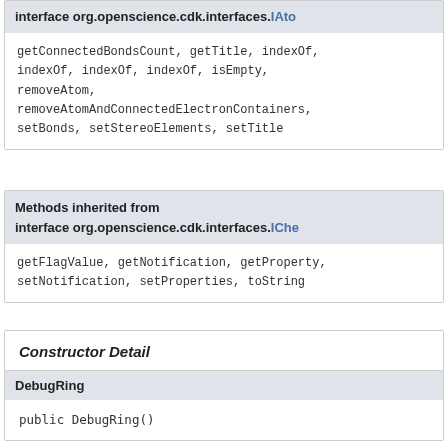interface org.openscience.cdk.interfaces.IAto
getConnectedBondsCount, getTitle, indexOf, indexOf, indexOf, indexOf, isEmpty, removeAtom, removeAtomAndConnectedElectronContainers, setBonds, setStereoElements, setTitle
Methods inherited from interface org.openscience.cdk.interfaces.IChe
getFlagValue, getNotification, getProperty, setNotification, setProperties, toString
Constructor Detail
DebugRing
public DebugRing()